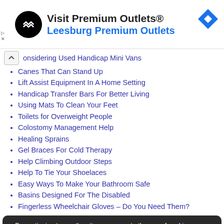[Figure (other): Advertisement banner for Visit Premium Outlets® – Leesburg Premium Outlets, with circular logo and navigation icon]
Considering Used Handicap Mini Vans
Canes That Can Stand Up
Lift Assist Equipment In A Home Setting
Handicap Transfer Bars For Better Living
Using Mats To Clean Your Feet
Toilets for Overweight People
Colostomy Management Help
Healing Sprains
Gel Braces For Cold Therapy
Help Climbing Outdoor Steps
Help To Tie Your Shoelaces
Easy Ways To Make Your Bathroom Safe
Basins Designed For The Disabled
Fingerless Wheelchair Gloves – Do You Need Them?
By continuing to use the site, you agree to the use of cookies. more information  Accept
Navigation